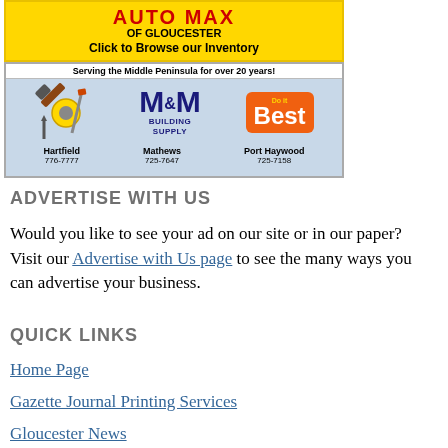[Figure (advertisement): AutoMax of Gloucester advertisement banner with yellow background, red logo text, and 'Click to Browse our Inventory' text]
[Figure (advertisement): M&M Building Supply advertisement featuring tools icon, M&M logo in navy blue, Do it Best orange logo, and three locations: Hartfield, Mathews, Port Haywood]
ADVERTISE WITH US
Would you like to see your ad on our site or in our paper? Visit our Advertise with Us page to see the many ways you can advertise your business.
QUICK LINKS
Home Page
Gazette Journal Printing Services
Gloucester News